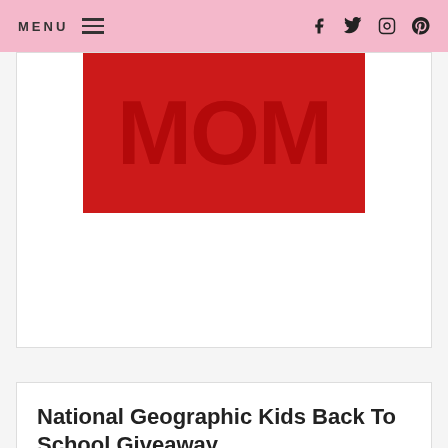MENU  f  Twitter  Instagram  Pinterest
[Figure (photo): Partial view of a red background image with large pink letters spelling MOM, cropped at the top]
National Geographic Kids Back To School Giveaway
Welcome to the Old School Giveaway Hop  Animal Encyclopedia, 2nd Edition: 2,500